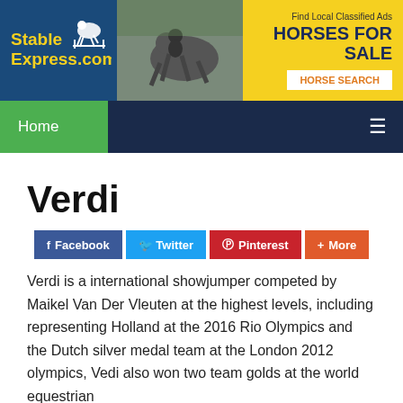[Figure (logo): StableExpress.com logo with horse jumping silhouette on dark blue background]
[Figure (photo): Photo of a horse and rider jumping]
[Figure (infographic): Yellow advertisement banner: Find Local Classified Ads, HORSES FOR SALE, HORSE SEARCH button]
Home
Verdi
Facebook  Twitter  Pinterest  More
Verdi is a international showjumper competed by Maikel Van Der Vleuten at the highest levels, including representing Holland at the 2016 Rio Olympics and the Dutch silver medal team at the London 2012 olympics, Vedi also won two team golds at the world equestrian